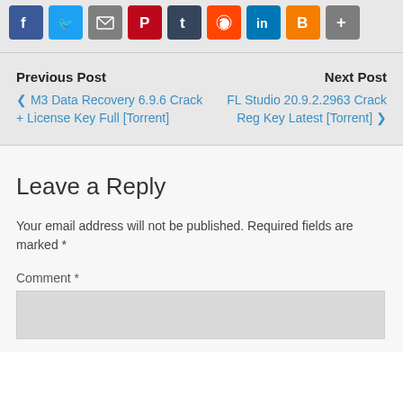[Figure (other): Social sharing icons row: Facebook, Twitter, Email, Pinterest, Tumblr, Reddit, LinkedIn, Blogger, Share]
Previous Post
‹ M3 Data Recovery 6.9.6 Crack + License Key Full [Torrent]
Next Post
FL Studio 20.9.2.2963 Crack Reg Key Latest [Torrent] ›
Leave a Reply
Your email address will not be published. Required fields are marked *
Comment *